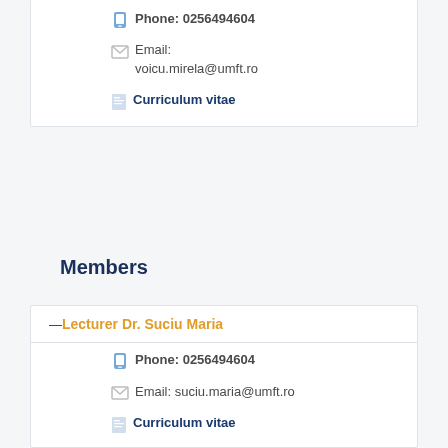Phone: 0256494604
Email:
voicu.mirela@umft.ro
Curriculum vitae
Members
— Lecturer Dr. Suciu Maria
Phone: 0256494604
Email: suciu.maria@umft.ro
Curriculum vitae